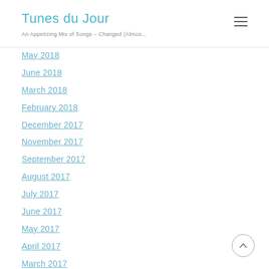Tunes du Jour — An Appetizing Mix of Songs – Changed (Almos...
May 2018
June 2018
March 2018
February 2018
December 2017
November 2017
September 2017
August 2017
July 2017
June 2017
May 2017
April 2017
March 2017
February 2017
January 2017
December 2016
November 2016
October 2016
September 2016